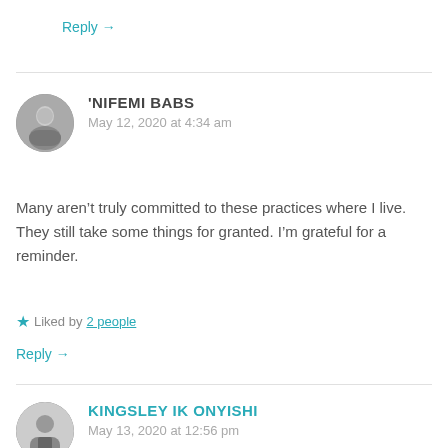Reply →
'NIFEMI BABS
May 12, 2020 at 4:34 am
Many aren't truly committed to these practices where I live. They still take some things for granted. I'm grateful for a reminder.
★ Liked by 2 people
Reply →
KINGSLEY IK ONYISHI
May 13, 2020 at 12:56 pm